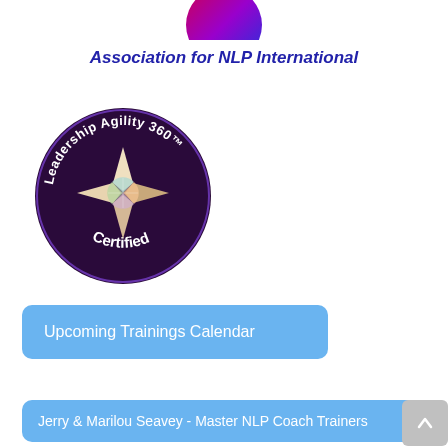[Figure (logo): Partially visible circular logo at top center — appears to be the Association for NLP International logo with purple/red/blue gradient shape, cropped at top]
Association for NLP International
[Figure (logo): Leadership Agility 360 TM Certified circular badge — dark purple circle with star/compass-point gem shape in center (translucent multi-color), white text around the rim reading 'Leadership Agility 360 TM' at top and 'Certified' at bottom]
Upcoming Trainings Calendar
Jerry & Marilou Seavey - Master NLP Coach Trainers